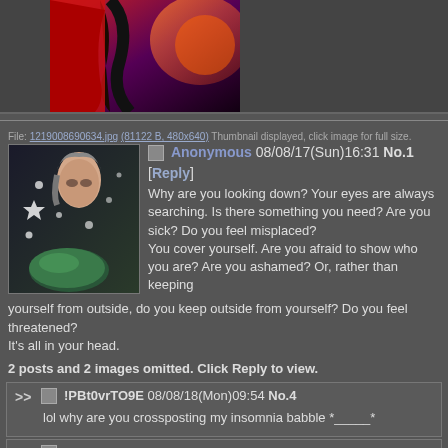[Figure (illustration): Top portion of an anime/artwork image showing a figure in red and dark colors against an orange/pink background]
File: 1219008690634.jpg (81122 B, 480x640) Thumbnail displayed, click image for full size.
[Figure (photo): Thumbnail of a person wearing a dark starry/galaxy print clothing, looking down, with green/teal orb visible]
Anonymous 08/08/17(Sun)16:31 No.1 [Reply]
Why are you looking down? Your eyes are always searching. Is there something you need? Are you sick? Do you feel misplaced?
You cover yourself. Are you afraid to show who you are? Are you ashamed? Or, rather than keeping yourself from outside, do you keep outside from yourself? Do you feel threatened?
It's all in your head.
2 posts and 2 images omitted. Click Reply to view.
!PBt0vrTO9E 08/08/18(Mon)09:54 No.4
lol why are you crossposting my insomnia babble *_____*
Anonymous 08/08/18(Mon)15:14 No.5